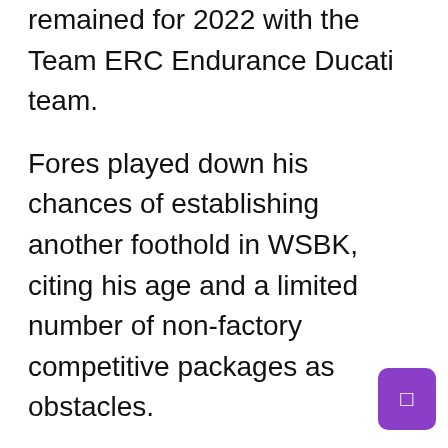remained for 2022 with the Team ERC Endurance Ducati team.
Fores played down his chances of establishing another foothold in WSBK, citing his age and a limited number of non-factory competitive packages as obstacles.
“I always believed that my place was in WSBK, but now more than in the past, if you don’t have a factory bike or a good [satellite] bike, it’s not as easy as it used to be to stay with the peloton,” Fores said.
“There are only a few good private teams, Barni, GoEleven, the BMW second team [Bonovo]maybe GRT [Yamaha]… but they are looking for young